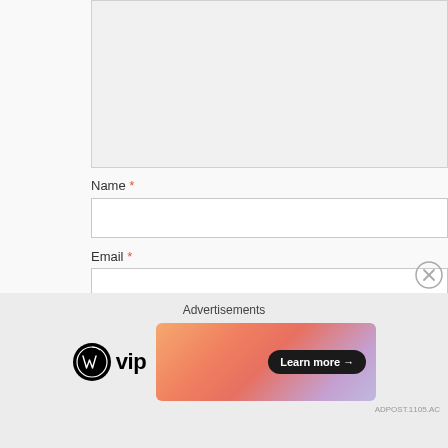[Figure (screenshot): Textarea input field (comment box) — top portion visible, light gray background]
Name *
[Figure (screenshot): Name input field — white background with border]
Email *
[Figure (screenshot): Email input field — white background with border]
Website
[Figure (screenshot): Website input field — white background with border]
Advertisements
[Figure (logo): WordPress VIP logo — WordPress circle icon with 'vip' text]
[Figure (infographic): Advertisement banner with gradient orange/pink background and 'Learn more →' button]
ADPOST.1105.AC